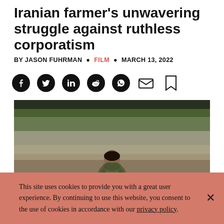Iranian farmer's unwavering struggle against ruthless corporatism
BY JASON FUHRMAN • FILM • MARCH 13, 2022
[Figure (other): Social media sharing icons: Facebook, Twitter, LinkedIn, Reddit, WhatsApp, Email, Bookmark]
[Figure (photo): A bearded man in an olive/khaki jacket sits crouched near a muddy waterway or flooded field, looking down at something small he holds in his cupped hands. The background shows a grey-green landscape with vegetation along a bank.]
This site uses cookies to provide you with a great user experience. By continuing to use this website, you consent to the use of cookies in accordance with our privacy policy.